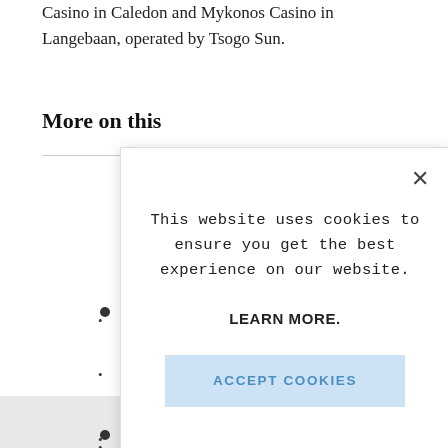Casino in Caledon and Mykonos Casino in Langebaan, operated by Tsogo Sun.
More on this
[Figure (screenshot): Cookie consent modal dialog with close X button, message 'This website uses cookies to ensure you get the best experience on our website.', a LEARN MORE. link, and an ACCEPT COOKIES button.]